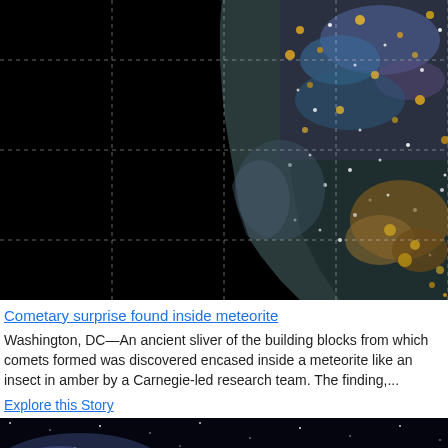[Figure (photo): Microscopic image of a meteorite cross-section showing iridescent mineral crystals and metallic flecks against a dark background, with a white dashed grid overlay. The left portion is mostly black, while the right side reveals colorful mineral structures in blue, gold, and brown tones.]
Cometary surprise found inside meteorite
Washington, DC—An ancient sliver of the building blocks from which comets formed was discovered encased inside a meteorite like an insect in amber by a Carnegie-led research team. The finding,...
Explore this Story
[Figure (photo): Deep space photograph showing stars against a dark background with a bright nebula or galaxy glow visible in the lower left area.]